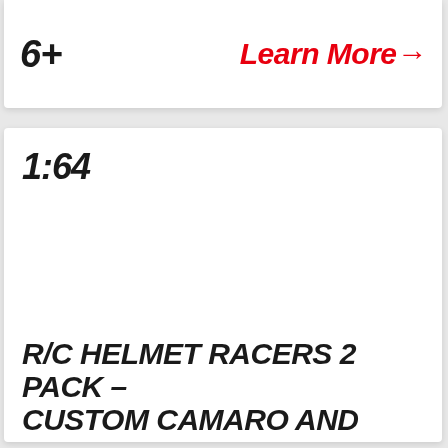6+
Learn More →
1:64
R/C HELMET RACERS 2 PACK – CUSTOM CAMARO AND